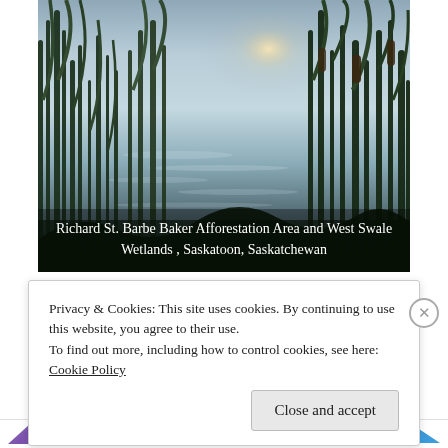[Figure (photo): Wetland scene at dusk showing tall reeds and cattails in the foreground with a calm reflective water surface and sky in the background. Caption reads: Richard St. Barbe Baker Afforestation Area and West Swale Wetlands , Saskatoon, Saskatchewan]
Richard St. Barbe Baker Afforestation Area and West Swale Wetlands , Saskatoon, Saskatchewan
Privacy & Cookies: This site uses cookies. By continuing to use this website, you agree to their use.
To find out more, including how to control cookies, see here:
Cookie Policy
Close and accept